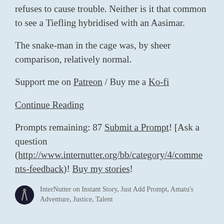refuses to cause trouble. Neither is it that common to see a Tiefling hybridised with an Aasimar.
The snake-man in the cage was, by sheer comparison, relatively normal.
Support me on Patreon / Buy me a Ko-fi
Continue Reading
Prompts remaining: 87 Submit a Prompt! [Ask a question (http://www.internutter.org/bb/category/4/comments-feedback)! Buy my stories!
InterNutter on Instant Story, Just Add Prompt, Amatu's Adventure, Justice, Talent